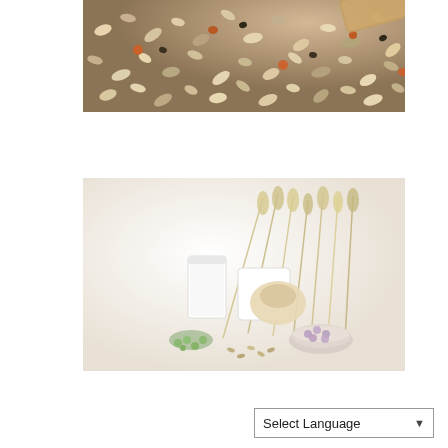[Figure (photo): Close-up photo of mixed grains, seeds, and legumes — oats, lentils, sunflower seeds, and various pulses in shades of beige, brown, orange and black, viewed from above with a wooden scoop partially visible at top right.]
[Figure (photo): Photo of various grains and dairy items on a white background — includes a glass of milk, bundles of wheat stalks, small bowls containing purple and green legumes, and scattered seeds arranged artistically.]
Select Language